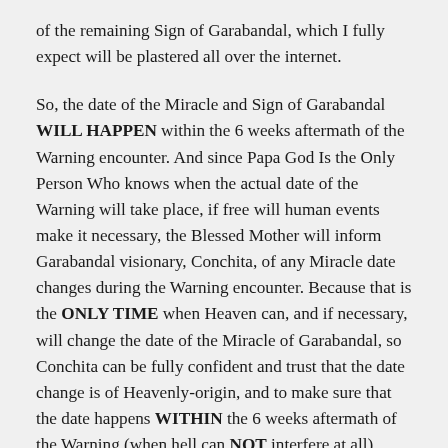of the remaining Sign of Garabandal, which I fully expect will be plastered all over the internet.
So, the date of the Miracle and Sign of Garabandal WILL HAPPEN within the 6 weeks aftermath of the Warning encounter. And since Papa God Is the Only Person Who knows when the actual date of the Warning will take place, if free will human events make it necessary, the Blessed Mother will inform Garabandal visionary, Conchita, of any Miracle date changes during the Warning encounter. Because that is the ONLY TIME when Heaven can, and if necessary, will change the date of the Miracle of Garabandal, so Conchita can be fully confident and trust that the date change is of Heavenly-origin, and to make sure that the date happens WITHIN the 6 weeks aftermath of the Warning (when hell can NOT interfere at all).